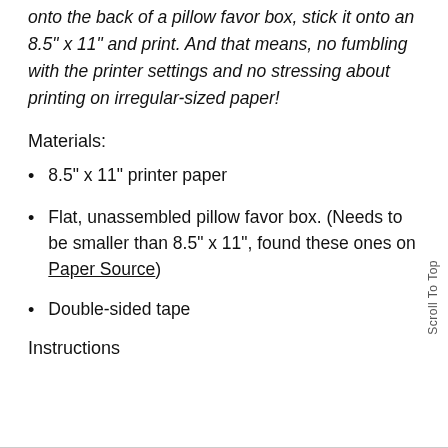project. Essentially, place some double sided tape onto the back of a pillow favor box, stick it onto an 8.5" x 11" and print. And that means, no fumbling with the printer settings and no stressing about printing on irregular-sized paper!
Materials:
8.5" x 11" printer paper
Flat, unassembled pillow favor box. (Needs to be smaller than 8.5" x 11", found these ones on Paper Source)
Double-sided tape
Instructions